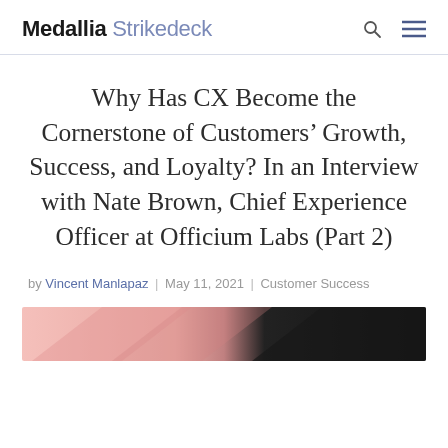Medallia Strikedeck
Why Has CX Become the Cornerstone of Customers' Growth, Success, and Loyalty? In an Interview with Nate Brown, Chief Experience Officer at Officium Labs (Part 2)
by Vincent Manlapaz | May 11, 2021 | Customer Success
[Figure (photo): Partial view of a photo showing pink and dark/black diagonal graphic elements, likely a banner or portrait image related to the article.]